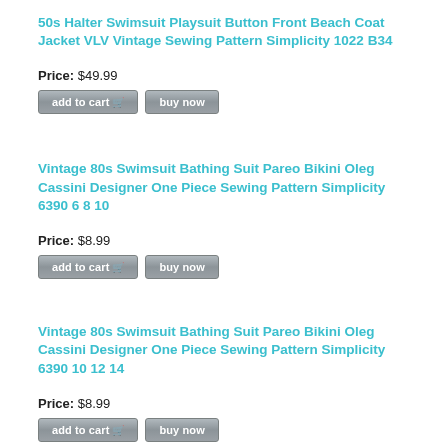50s Halter Swimsuit Playsuit Button Front Beach Coat Jacket VLV Vintage Sewing Pattern Simplicity 1022 B34
Price: $49.99
Vintage 80s Swimsuit Bathing Suit Pareo Bikini Oleg Cassini Designer One Piece Sewing Pattern Simplicity 6390 6 8 10
Price: $8.99
Vintage 80s Swimsuit Bathing Suit Pareo Bikini Oleg Cassini Designer One Piece Sewing Pattern Simplicity 6390 10 12 14
Price: $8.99